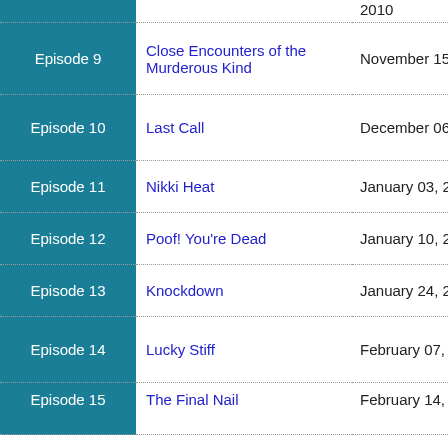| Episode | Title | Air Date |
| --- | --- | --- |
| Episode 9 | Close Encounters of the Murderous Kind | November 15, 2010 |
| Episode 10 | Last Call | December 06, 2010 |
| Episode 11 | Nikki Heat | January 03, 2011 |
| Episode 12 | Poof! You're Dead | January 10, 2011 |
| Episode 13 | Knockdown | January 24, 2011 |
| Episode 14 | Lucky Stiff | February 07, 2011 |
| Episode 15 | The Final Nail | February 14, 2011 |